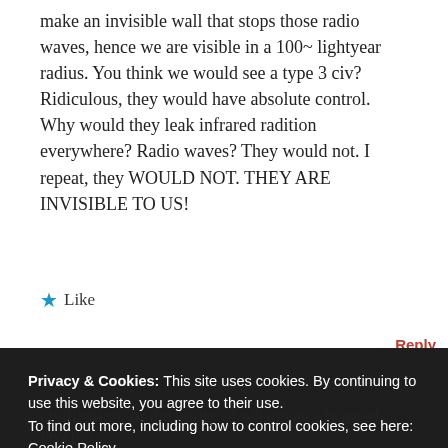make an invisible wall that stops those radio waves, hence we are visible in a 100~ lightyear radius. You think we would see a type 3 civ? Ridiculous, they would have absolute control. Why would they leak infrared radition everywhere? Radio waves? They would not. I repeat, they WOULD NOT. THEY ARE INVISIBLE TO US!
★ Like
Reply
Privacy & Cookies: This site uses cookies. By continuing to use this website, you agree to their use. To find out more, including how to control cookies, see here: Cookie Policy
Close and accept
civilization, or the entity of whatever advanced level is